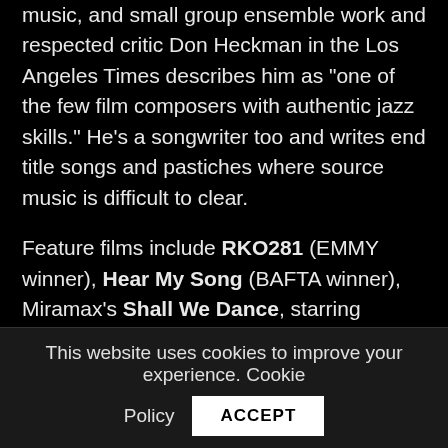music, and small group ensemble work and respected critic Don Heckman in the Los Angeles Times describes him as "one of the few film composers with authentic jazz skills." He's a songwriter too and writes end title songs and pastiches where source music is difficult to clear.
Feature films include RKO281 (EMMY winner), Hear My Song (BAFTA winner), Miramax's Shall We Dance, starring Richard Gere and Jennifer Lopez;  the thriller Shoot On Sight and a contemporary version of Ibsen's The Master Builder (Crossover
This website uses cookies to improve your experience. Cookie Policy  ACCEPT